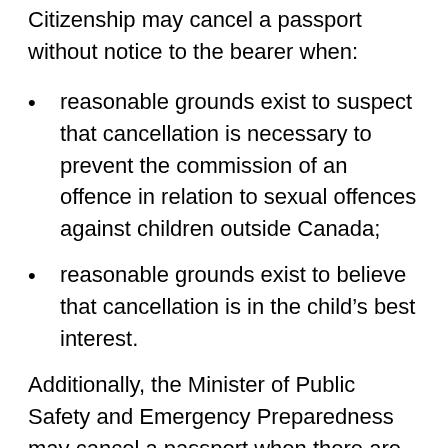Citizenship may cancel a passport without notice to the bearer when:
reasonable grounds exist to suspect that cancellation is necessary to prevent the commission of an offence in relation to sexual offences against children outside Canada;
reasonable grounds exist to believe that cancellation is in the child's best interest.
Additionally, the Minister of Public Safety and Emergency Preparedness may cancel a passport when there are reasonable grounds